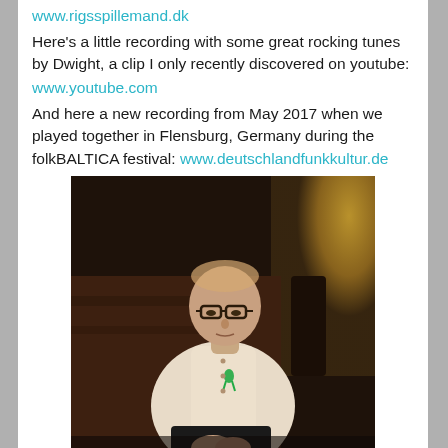www.rigsspillemand.dk
Here's a little recording with some great rocking tunes by Dwight, a clip I only recently discovered on youtube:
www.youtube.com
And here a new recording from May 2017 when we played together in Flensburg, Germany during the folkBALTICA festival: www.deutschlandfunkkultur.de
[Figure (photo): Elderly man wearing glasses and a white shirt with a green ribbon pin, seated and looking downward, photographed against an ornate golden and wooden background.]